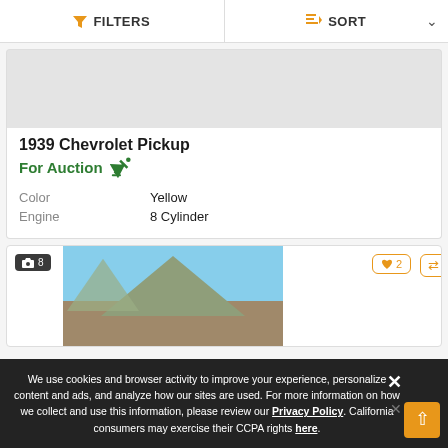FILTERS | SORT
[Figure (photo): Gray placeholder image area for car listing]
1939 Chevrolet Pickup
For Auction 🔨
| Attribute | Value |
| --- | --- |
| Color | Yellow |
| Engine | 8 Cylinder |
[Figure (photo): Car listing card showing a building/barn with wooden roof against blue sky. Badge shows 8 photos. Heart icon shows 2 likes. Compare button visible.]
We use cookies and browser activity to improve your experience, personalize content and ads, and analyze how our sites are used. For more information on how we collect and use this information, please review our Privacy Policy. California consumers may exercise their CCPA rights here.